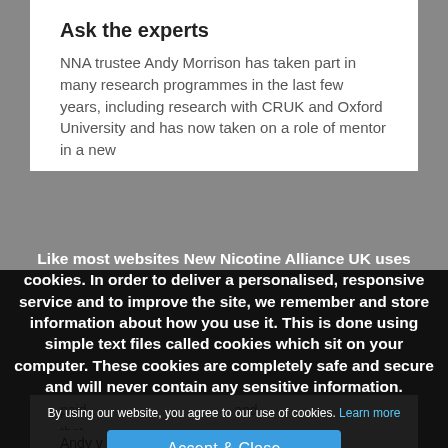Ask the experts
NNA trustee Andy Morrison has taken part in many research programmes in the last few years, including research with CRUK and Oxford University and has now taken on a role of mentor in a new
Like most websites New Nicotine Alliance UK uses cookies. In order to deliver a personalised, responsive service and to improve the site, we remember and store information about how you use it. This is done using simple text files called cookies which sit on your computer. These cookies are completely safe and secure and will never contain any sensitive information.
By using our website, you agree to our use of cookies. Learn more
Accept & Close